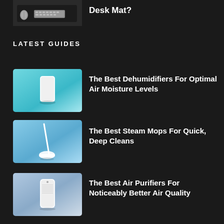[Figure (photo): Desk mat with keyboard and mouse on dark surface]
Desk Mat?
LATEST GUIDES
[Figure (photo): White dehumidifier on teal/blue gradient background]
The Best Dehumidifiers For Optimal Air Moisture Levels
[Figure (photo): Steam mop on light blue gradient background]
The Best Steam Mops For Quick, Deep Cleans
[Figure (photo): Air purifier on blue-grey gradient background]
The Best Air Purifiers For Noticeably Better Air Quality